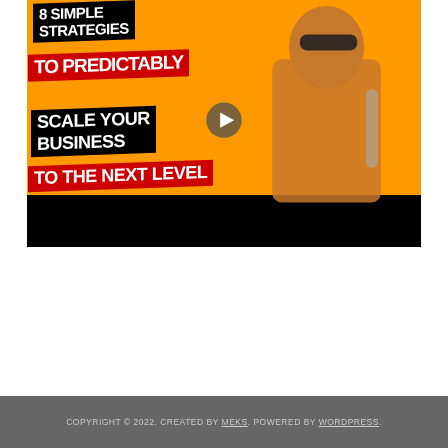[Figure (screenshot): Video thumbnail showing a man in a brown jacket with sunglasses standing against an orange background. Bold text overlay reads: '8 SIMPLE STRATEGIES TO PREDICTABLY SCALE YOUR BUSINESS TO THE NEXT LEVEL'. A play button is overlaid in the center.]
COPYRIGHT © 2022. CREATED BY MEKS. POWERED BY WORDPRESS.